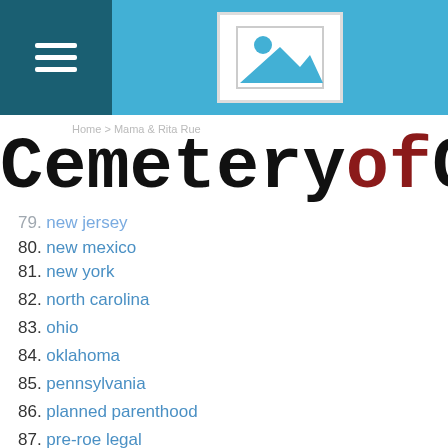[Figure (screenshot): Mobile app header with hamburger menu icon on dark teal background and image placeholder icon on sky blue background]
CemeteryofCh
Home > Mama & Rita Rue
79. new jersey
80. new mexico
81. new york
82. north carolina
83. ohio
84. oklahoma
85. pennsylvania
86. planned parenthood
87. pre-roe legal
88. previous misconduct
89. prostaglandin
90. quackery
91. questionable stories
92. ru-486
93. rupture
94. ...